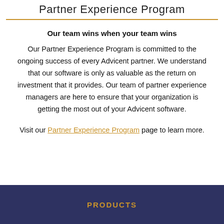Partner Experience Program
Our team wins when your team wins
Our Partner Experience Program is committed to the ongoing success of every Advicent partner. We understand that our software is only as valuable as the return on investment that it provides. Our team of partner experience managers are here to ensure that your organization is getting the most out of your Advicent software.
Visit our Partner Experience Program page to learn more.
PRODUCTS